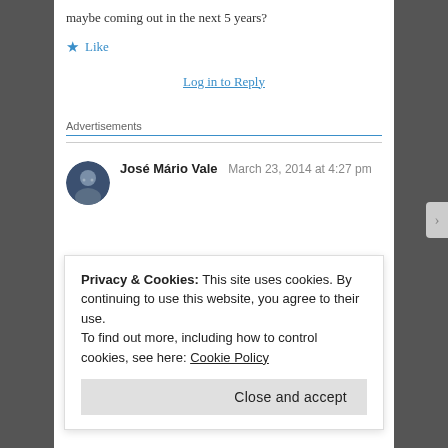maybe coming out in the next 5 years?
★ Like
Log in to Reply
Advertisements
José Mário Vale   March 23, 2014 at 4:27 pm
Privacy & Cookies: This site uses cookies. By continuing to use this website, you agree to their use.
To find out more, including how to control cookies, see here: Cookie Policy
Close and accept